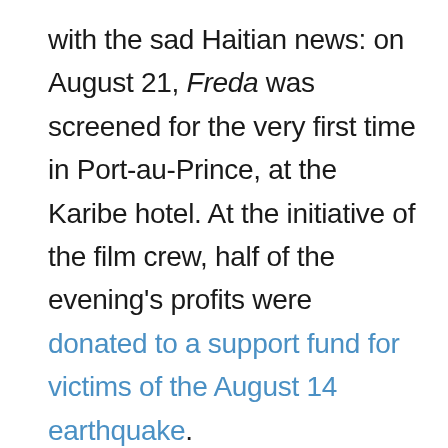with the sad Haitian news: on August 21, Freda was screened for the very first time in Port-au-Prince, at the Karibe hotel. At the initiative of the film crew, half of the evening's profits were donated to a support fund for victims of the August 14 earthquake.
Freda by Gessica Génus will be released on October 13 in France, in partnership with International mail.